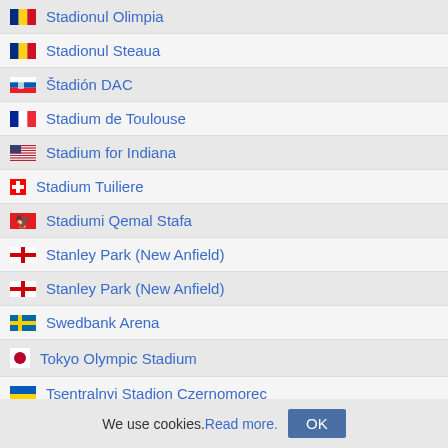Stadionul Olimpia
Stadionul Steaua
Štadión DAC
Stadium de Toulouse
Stadium for Indiana
Stadium Tuiliere
Stadiumi Qemal Stafa
Stanley Park (New Anfield)
Stanley Park (New Anfield)
Swedbank Arena
Tokyo Olympic Stadium
Tsentralnyj Stadion Czernomorec
Tynecastle
UWE Stadium
Valencia Stadium
Vikings Stadium (l)
We use cookies. Read more. OK